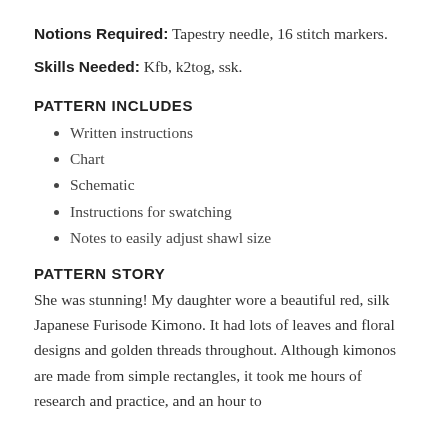Notions Required: Tapestry needle, 16 stitch markers.
Skills Needed: Kfb, k2tog, ssk.
PATTERN INCLUDES
Written instructions
Chart
Schematic
Instructions for swatching
Notes to easily adjust shawl size
PATTERN STORY
She was stunning! My daughter wore a beautiful red, silk Japanese Furisode Kimono. It had lots of leaves and floral designs and golden threads throughout. Although kimonos are made from simple rectangles, it took me hours of research and practice, and an hour to